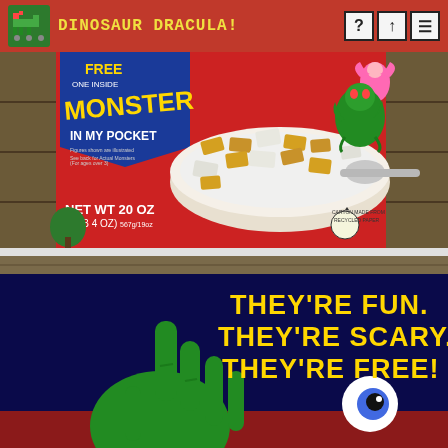DINOSAUR DRACULA!
[Figure (photo): Cereal box front showing 'Monster In My Pocket' free toy promotion, with a bowl of cereal pieces, a spoon, pink fairy creature, green monster creature. Text reads FREE ONE INSIDE, MONSTER IN MY POCKET, NET WT 20 OZ (1 LB 4 OZ) 567g/19oz, CARTON MADE FROM RECYCLED PAPER.]
[Figure (photo): Cereal box side/back showing dark navy blue background with a green monster hand and an eyeball. Bold yellow text reads: THEY'RE FUN. THEY'RE SCARY. THEY'RE FREE!]